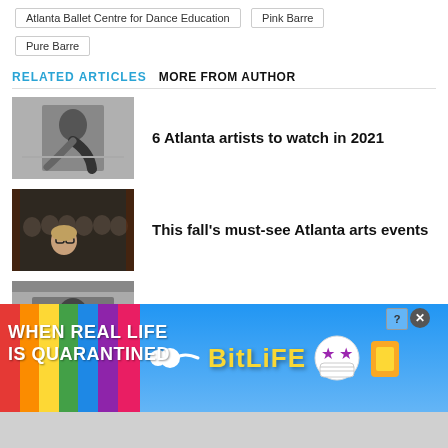Atlanta Ballet Centre for Dance Education
Pink Barre
Pure Barre
RELATED ARTICLES   MORE FROM AUTHOR
[Figure (photo): Black and white photo of a dancer bending at a barre]
6 Atlanta artists to watch in 2021
[Figure (photo): Group of people, woman with glasses in front, dark background]
This fall's must-see Atlanta arts events
[Figure (photo): Partial image of figure, partially cut off by ad banner]
Atlanta native Quiantae Thomas's
[Figure (screenshot): BitLife advertisement banner: rainbow on left, text WHEN REAL LIFE IS QUARANTINED, sperm emoji leading to BitLife logo with star-eye emoji and coin emoji on right]